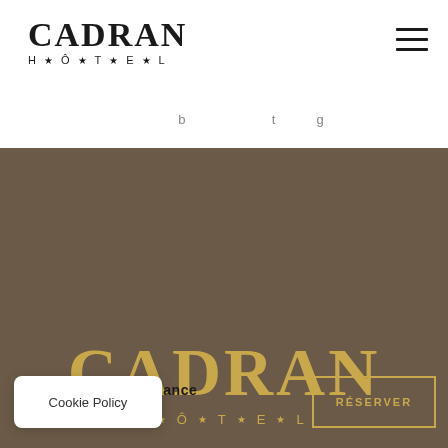[Figure (logo): Cadran Hôtel logo in black and white at top left of page header]
≡
b  t  g
[Figure (logo): Cadran Hôtel logo in gold on dark brown background, center of page]
RÉSERVER VOTRE SÉJOUR
Cookie Policy
P...ute confiance
GARANTI
RÉSERVER